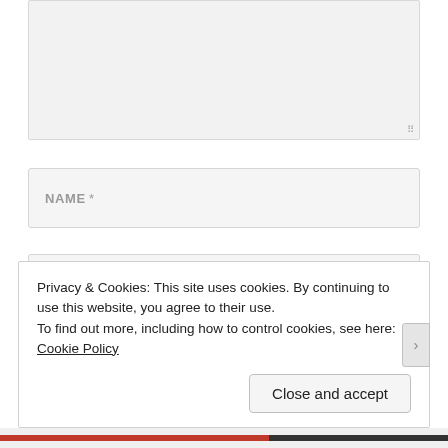[Figure (screenshot): A textarea input field (comment box), partially visible at the top of the page, with a light gray background and resize handle at bottom right.]
NAME *
EMAIL *
Privacy & Cookies: This site uses cookies. By continuing to use this website, you agree to their use.
To find out more, including how to control cookies, see here: Cookie Policy
Close and accept